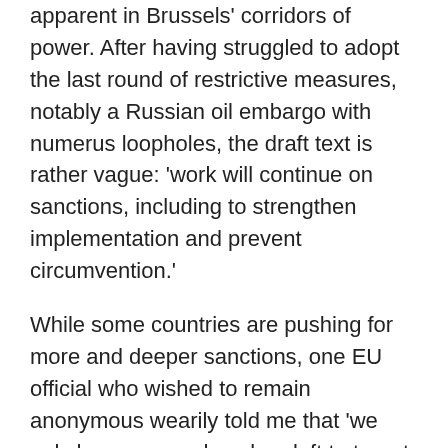apparent in Brussels' corridors of power. After having struggled to adopt the last round of restrictive measures, notably a Russian oil embargo with numerus loopholes, the draft text is rather vague: 'work will continue on sanctions, including to strengthen implementation and prevent circumvention.'
While some countries are pushing for more and deeper sanctions, one EU official who wished to remain anonymous wearily told me that 'we only have gas and nuclear left to target now but considering how hard it was to agree on the oil and looking at the galloping